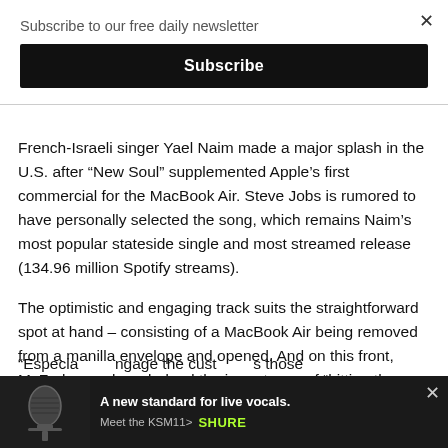Subscribe to our free daily newsletter
Subscribe
French-Israeli singer Yael Naim made a major splash in the U.S. after “New Soul” supplemented Apple’s first commercial for the MacBook Air. Steve Jobs is rumored to have personally selected the song, which remains Naim’s most popular stateside single and most streamed release (134.96 million Spotify streams).
The optimistic and engaging track suits the straightforward spot at hand – consisting of a MacBook Air being removed from a manilla envelope and opened. And on this front, McFarlane acknowledged the importance of “hitting the ground running” with music in advertising.
“Especia…ngage the cust…s those
[Figure (other): Advertisement banner for Shure KSM11 microphone with dark background, microphone image on left, text 'A new standard for live vocals. Meet the KSM11>' with Shure logo in green]